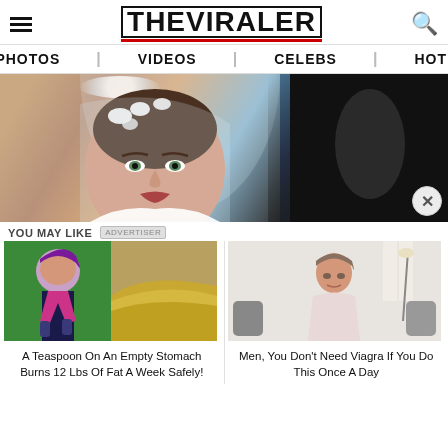THE VIRALER
PHOTOS | VIDEOS | CELEBS | HOT!
[Figure (photo): Close-up photo of a young woman in a wedding dress with white floral headpiece and veil, next to a dark car interior]
YOU MAY LIKE
[Figure (photo): Woman running with purple hair and fitness outfit next to a pile of yellow powder/spice]
A Teaspoon On An Empty Stomach Burns 12 Lbs Of Fat A Week Safely!
[Figure (photo): Older woman in white lace top standing in a modern living room]
Men, You Don't Need Viagra If You Do This Once A Day